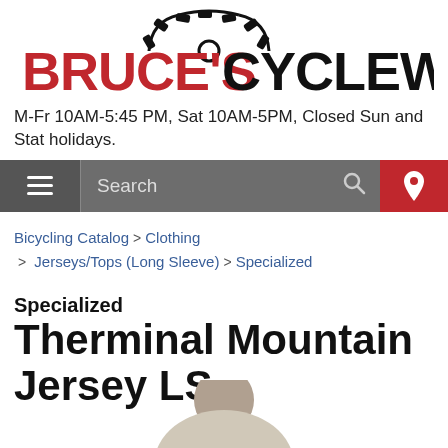[Figure (logo): Bruce's Cycleworks logo with gear/sprocket icon above, red and black text]
M-Fr 10AM-5:45 PM, Sat 10AM-5PM, Closed Sun and Stat holidays.
[Figure (screenshot): Navigation bar with hamburger menu, search field, and location pin icon on red background]
Bicycling Catalog > Clothing > Jerseys/Tops (Long Sleeve) > Specialized
Specialized
Therminal Mountain Jersey LS
[Figure (photo): Partial photo of a person wearing a cycling jersey, cropped at bottom of page]